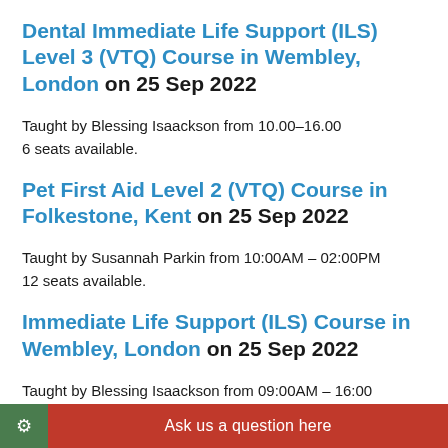Dental Immediate Life Support (ILS) Level 3 (VTQ) Course in Wembley, London on 25 Sep 2022
Taught by Blessing Isaackson from 10.00–16.00
6 seats available.
Pet First Aid Level 2 (VTQ) Course in Folkestone, Kent on 25 Sep 2022
Taught by Susannah Parkin from 10:00AM – 02:00PM
12 seats available.
Immediate Life Support (ILS) Course in Wembley, London on 25 Sep 2022
Taught by Blessing Isaackson from 09:00AM – 16:00
6 seats available.
Emergency First Aid at Work 6 Hour Level 3 (VTQ) – EFAW Course in Haywards Heath, t Sussex on 26 Sep 2022